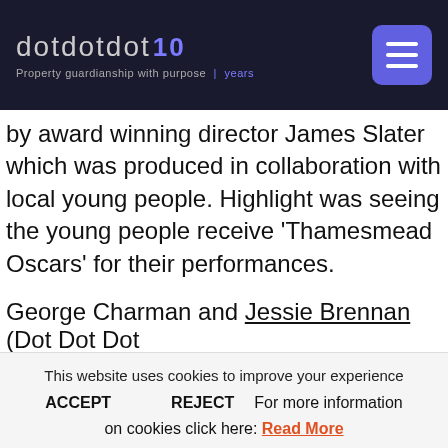dotdotdot 10 — Property guardianship with purpose | years
by award winning director James Slater which was produced in collaboration with local young people. Highlight was seeing the young people receive 'Thamesmead Oscars' for their performances.
George Charman and Jessie Brennan (Dot Dot Dot
This website uses cookies to improve your experience
ACCEPT    REJECT    For more information on cookies click here: Read More